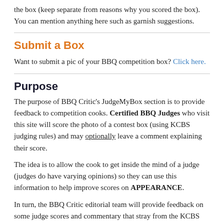the box (keep separate from reasons why you scored the box). You can mention anything here such as garnish suggestions.
Submit a Box
Want to submit a pic of your BBQ competition box? Click here.
Purpose
The purpose of BBQ Critic's JudgeMyBox section is to provide feedback to competition cooks. Certified BBQ Judges who visit this site will score the photo of a contest box (using KCBS judging rules) and may optionally leave a comment explaining their score.
The idea is to allow the cook to get inside the mind of a judge (judges do have varying opinions) so they can use this information to help improve scores on APPEARANCE.
In turn, the BBQ Critic editorial team will provide feedback on some judge scores and commentary that stray from the KCBS rules. This will